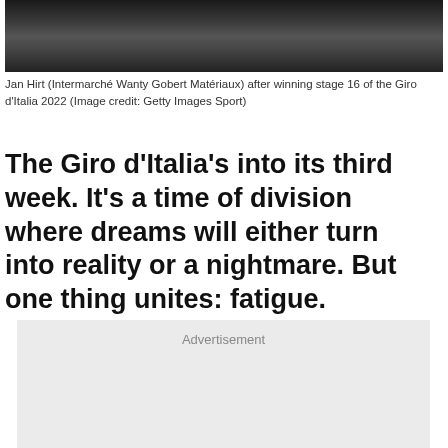[Figure (photo): Close-up photo of Jan Hirt's cycling shoes/hands on bicycle, dark background with yellow accents]
Jan Hirt (Intermarché Wanty Gobert Matériaux) after winning stage 16 of the Giro d'Italia 2022 (Image credit: Getty Images Sport)
The Giro d'Italia's into its third week. It's a time of division where dreams will either turn into reality or a nightmare. But one thing unites: fatigue.
Advertisement